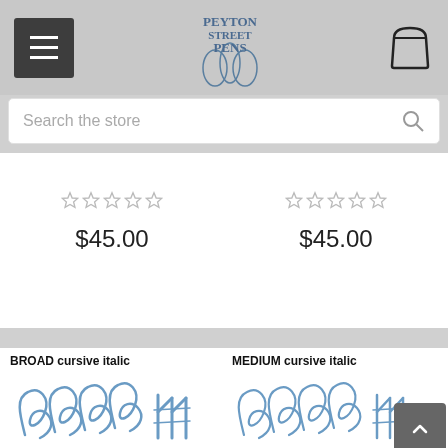[Figure (screenshot): Peyton Street Pens website header with hamburger menu icon, logo, and shopping bag icon]
[Figure (screenshot): Search bar with placeholder text 'Search the store' and search icon]
$45.00
$45.00
BROAD cursive italic
[Figure (illustration): Cursive handwriting sample in blue ink showing S letter loops and M strokes for BROAD cursive italic nib]
MEDIUM cursive italic
[Figure (illustration): Cursive handwriting sample in blue ink showing S letter loops and M strokes for MEDIUM cursive italic nib, with a scroll-up button overlay]